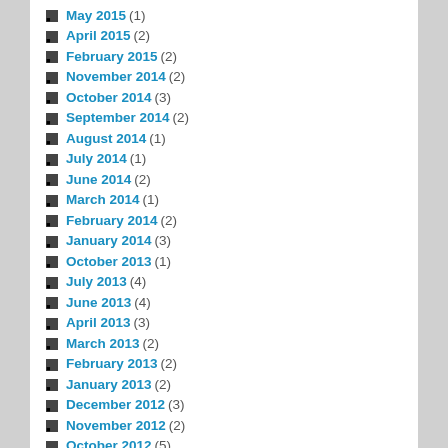May 2015 (1)
April 2015 (2)
February 2015 (2)
November 2014 (2)
October 2014 (3)
September 2014 (2)
August 2014 (1)
July 2014 (1)
June 2014 (2)
March 2014 (1)
February 2014 (2)
January 2014 (3)
October 2013 (1)
July 2013 (4)
June 2013 (4)
April 2013 (3)
March 2013 (2)
February 2013 (2)
January 2013 (2)
December 2012 (3)
November 2012 (2)
October 2012 (5)